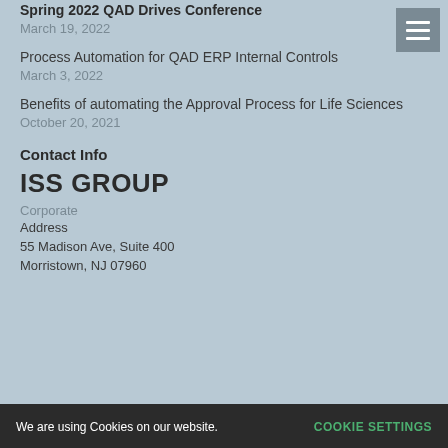Spring 2022 QAD Drives Conference
March 19, 2022
Process Automation for QAD ERP Internal Controls
March 3, 2022
Benefits of automating the Approval Process for Life Sciences
October 20, 2021
Contact Info
ISS GROUP
Corporate
Address
55 Madison Ave, Suite 400
Morristown, NJ 07960
We are using Cookies on our website.
COOKIE SETTINGS